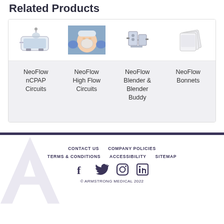Related Products
[Figure (photo): Four product images: NeoFlow nCPAP Circuits medical device, baby with nasal mask being fitted, NeoFlow Blender device, NeoFlow Bonnets packaged]
NeoFlow nCPAP Circuits
NeoFlow High Flow Circuits
NeoFlow Blender & Blender Buddy
NeoFlow Bonnets
CONTACT US  COMPANY POLICIES  TERMS & CONDITIONS  ACCESSIBILITY  SITEMAP  © ARMSTRONG MEDICAL 2022